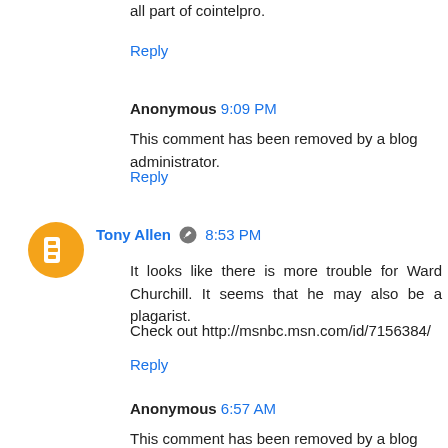all part of cointelpro.
Reply
Anonymous 9:09 PM
This comment has been removed by a blog administrator.
Reply
Tony Allen 8:53 PM
It looks like there is more trouble for Ward Churchill. It seems that he may also be a plagarist.
Check out http://msnbc.msn.com/id/7156384/
Reply
Anonymous 6:57 AM
This comment has been removed by a blog administrator.